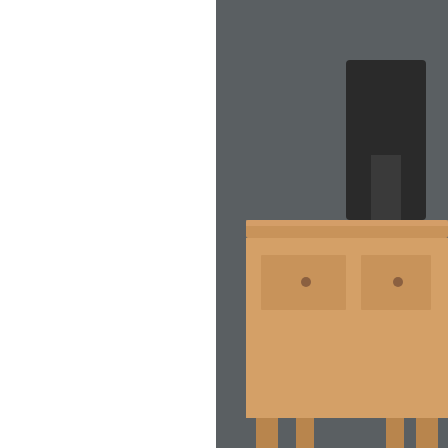[Figure (screenshot): YouTube video thumbnail showing a wooden desk/furniture piece against a dark gray wall, with a 'Watch on YouTube' overlay at the bottom.]
Christianity and Pluralism is concise yet thoughtful essays by and Ron Dart, interacting with an to the four traditional models use existence of multiple faiths (exclu pluralist, and syncretist), but focu particularly that form of syncretism